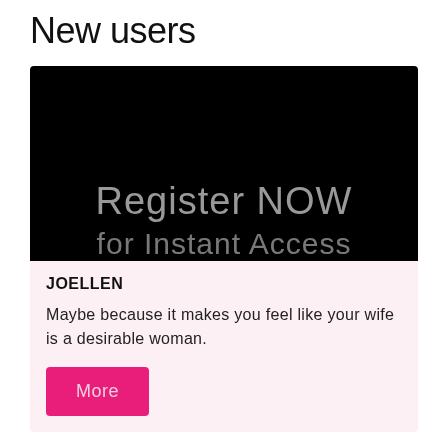New users
[Figure (screenshot): Dark black background image with large gray text reading 'Register NOW' and partially visible text 'for Instant Access' at the bottom]
JOELLEN
Maybe because it makes you feel like your wife is a desirable woman.
More